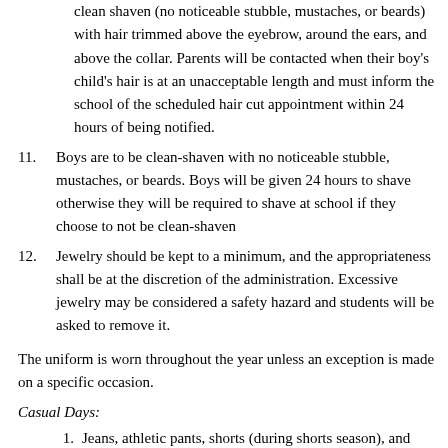clean shaven (no noticeable stubble, mustaches, or beards) with hair trimmed above the eyebrow, around the ears, and above the collar. Parents will be contacted when their boy’s child's hair is at an unacceptable length and must inform the school of the scheduled hair cut appointment within 24 hours of being notified.
11. Boys are to be clean-shaven with no noticeable stubble, mustaches, or beards. Boys will be given 24 hours to shave otherwise they will be required to shave at school if they choose to not be clean-shaven
12. Jewelry should be kept to a minimum, and the appropriateness shall be at the discretion of the administration. Excessive jewelry may be considered a safety hazard and students will be asked to remove it.
The uniform is worn throughout the year unless an exception is made on a specific occasion.
Casual Days:
1. Jeans, athletic pants, shorts (during shorts season), and shirts